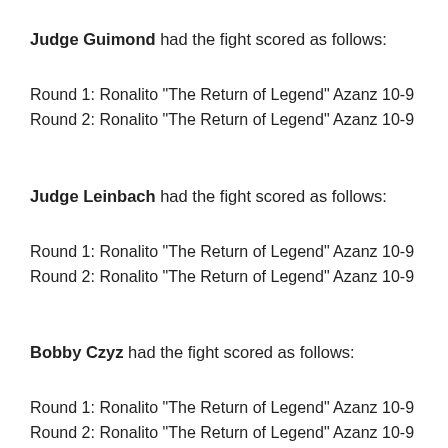Judge Guimond had the fight scored as follows:
Round 1: Ronalito "The Return of Legend" Azanz 10-9
Round 2: Ronalito "The Return of Legend" Azanz 10-9
Judge Leinbach had the fight scored as follows:
Round 1: Ronalito "The Return of Legend" Azanz 10-9
Round 2: Ronalito "The Return of Legend" Azanz 10-9
Bobby Czyz had the fight scored as follows:
Round 1: Ronalito "The Return of Legend" Azanz 10-9
Round 2: Ronalito "The Return of Legend" Azanz 10-9
Golden Z wins by a technical knockout!